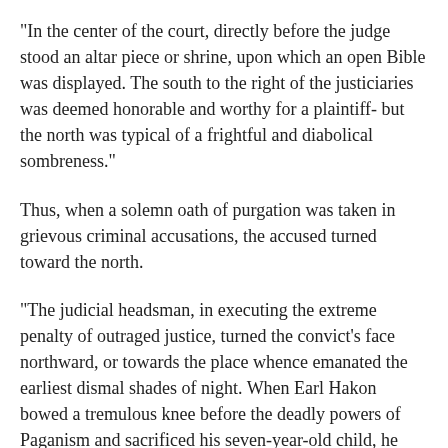"In the center of the court, directly before the judge stood an altar piece or shrine, upon which an open Bible was displayed. The south to the right of the justiciaries was deemed honorable and worthy for a plaintiff- but the north was typical of a frightful and diabolical sombreness."
Thus, when a solemn oath of purgation was taken in grievous criminal accusations, the accused turned toward the north.
"The judicial headsman, in executing the extreme penalty of outraged justice, turned the convict's face northward, or towards the place whence emanated the earliest dismal shades of night. When Earl Hakon bowed a tremulous knee before the deadly powers of Paganism and sacrificed his seven-year-old child, he gazed out upon the far-off, gloomy north.
In Nastrond, or shores of death, stood a revolting hall, whose portals opened toward the north—the regions of night. North, by the Jutes was denominated black or sombre; the Frisians